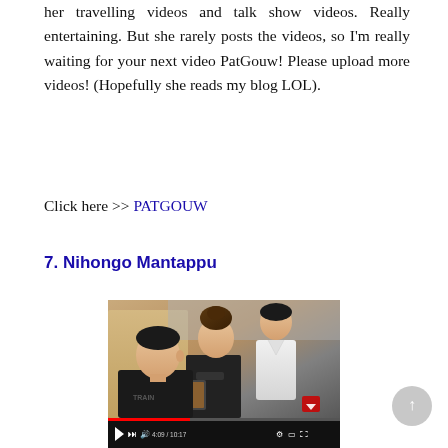her travelling videos and talk show videos. Really entertaining. But she rarely posts the videos, so I'm really waiting for your next video PatGouw! Please upload more videos! (Hopefully she reads my blog LOL).
Click here >> PATGOUW
7. Nihongo Mantappu
[Figure (screenshot): Screenshot of a YouTube video titled 'POTONG RAMBUT DI JEPANG SAMA CEWE CANTIKI HARGANYA...!?' with 2,224,820 views, showing three people in what appears to be a salon setting.]